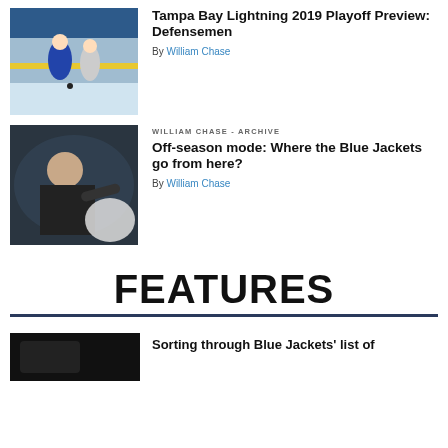[Figure (photo): Hockey players on ice during a game, Blue Jackets vs Lightning]
Tampa Bay Lightning 2019 Playoff Preview: Defensemen
By William Chase
WILLIAM CHASE - ARCHIVE
[Figure (photo): Man in black jacket pointing, appearing to be a coach near the ice]
Off-season mode: Where the Blue Jackets go from here?
By William Chase
FEATURES
[Figure (photo): Dark image, partial view at bottom of page]
Sorting through Blue Jackets' list of